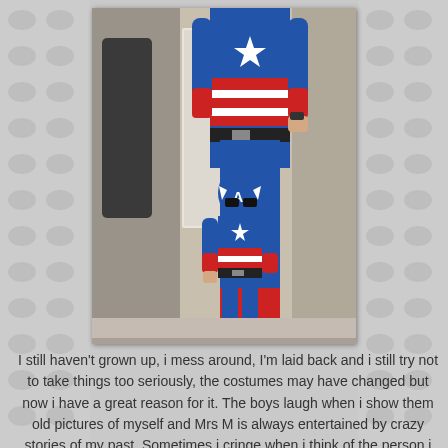[Figure (photo): A photo of an adult and a child both wearing Captain America costumes, standing in a hallway in front of a mirror. The adult is tall wearing a blue Captain America suit with red and white stripes and a black belt. The child is small wearing a similar Captain America costume with mask and belt.]
I still haven't grown up, i mess around, I'm laid back and i still try not to take things too seriously, the costumes may have changed but now i have a great reason for it. The boys laugh when i show them old pictures of myself and Mrs M is always entertained by crazy stories of my past. Sometimes i cringe when i think of the person i once was but i have no regrets. All the bad, the crazy and the cringe worthy has